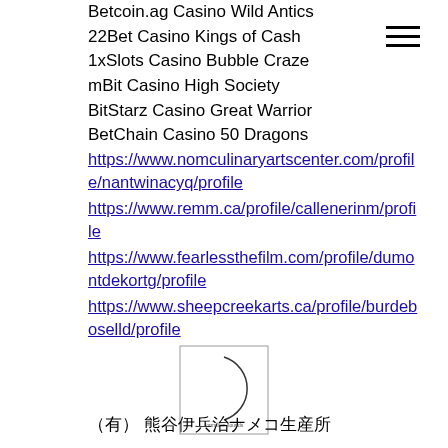Betcoin.ag Casino Wild Antics
22Bet Casino Kings of Cash
1xSlots Casino Bubble Craze
mBit Casino High Society
BitStarz Casino Great Warrior
BetChain Casino 50 Dragons
https://www.nomculinaryartscenter.com/profile/nantwinacyq/profile
https://www.remm.ca/profile/callenerinm/profile
https://www.fearlessthefilm.com/profile/dumontdekortg/profile
https://www.sheepcreekarts.ca/profile/burdeboselld/profile
[Figure (logo): Square logo with a circular arc and small text reading 'formation sounds']
（有） 熊谷伊兵治ナメコ生産所